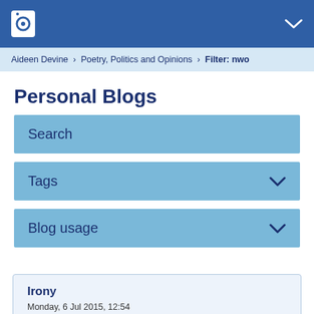Open University header bar with logo and menu chevron
Aideen Devine > Poetry, Politics and Opinions > Filter: nwo
Personal Blogs
Search
Tags
Blog usage
Irony
Monday, 6 Jul 2015, 12:54